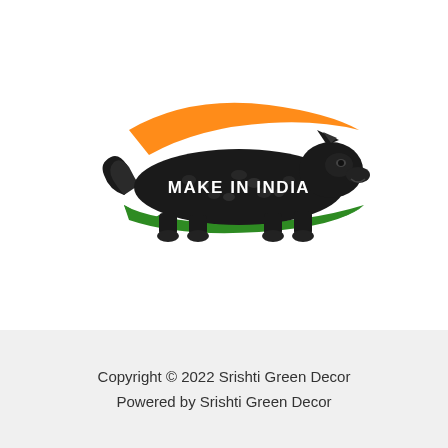[Figure (logo): Make in India logo featuring a black leopard/lion walking on a green leaf shape with an orange swoosh above, text 'MAKE IN INDIA' in white bold letters on the animal's body]
Copyright © 2022 Srishti Green Decor
Powered by Srishti Green Decor